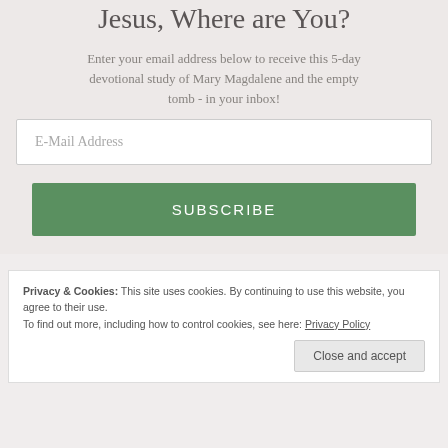Jesus, Where are You?
Enter your email address below to receive this 5-day devotional study of Mary Magdalene and the empty tomb - in your inbox!
E-Mail Address
SUBSCRIBE
Privacy & Cookies: This site uses cookies. By continuing to use this website, you agree to their use. To find out more, including how to control cookies, see here: Privacy Policy
Close and accept